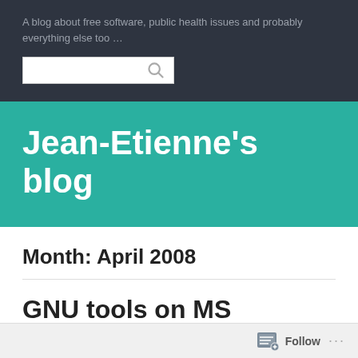A blog about free software, public health issues and probably everything else too …
[Figure (other): Search input box with magnifying glass icon]
Jean-Etienne's blog
Month: April 2008
GNU tools on MS Windows